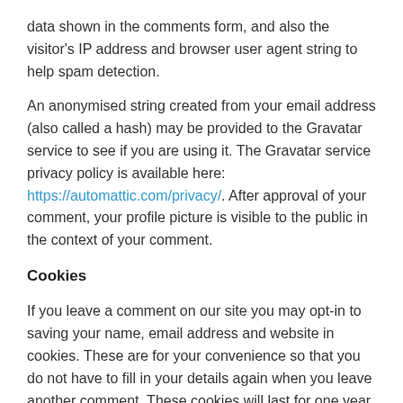data shown in the comments form, and also the visitor's IP address and browser user agent string to help spam detection.
An anonymised string created from your email address (also called a hash) may be provided to the Gravatar service to see if you are using it. The Gravatar service privacy policy is available here: https://automattic.com/privacy/. After approval of your comment, your profile picture is visible to the public in the context of your comment.
Cookies
If you leave a comment on our site you may opt-in to saving your name, email address and website in cookies. These are for your convenience so that you do not have to fill in your details again when you leave another comment. These cookies will last for one year.